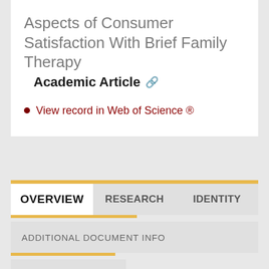Aspects of Consumer Satisfaction With Brief Family Therapy
Academic Article
View record in Web of Science ®
OVERVIEW
RESEARCH
IDENTITY
ADDITIONAL DOCUMENT INFO
VIEW ALL